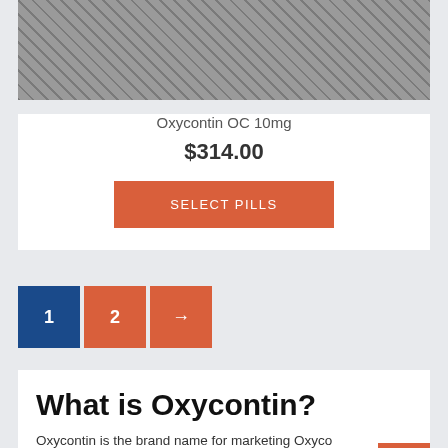[Figure (photo): Product image placeholder with gray crosshatch pattern]
Oxycontin OC 10mg
$314.00
SELECT PILLS
1 2 →
What is Oxycontin?
Oxycontin is the brand name for marketing Oxycodone and is a pain medication prescribed for relieving severe ongoing pain, like one due to cancer. Oxycodone